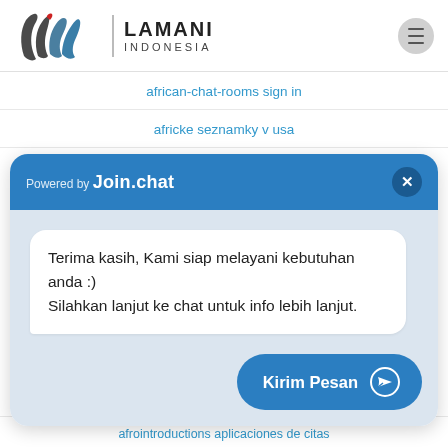[Figure (logo): Lamani Indonesia logo with stylized LW mark and vertical divider]
african-chat-rooms sign in
africke seznamky v usa
[Figure (screenshot): Join.chat widget popup with header 'Powered by Join.chat', close button, chat bubble message, and Kirim Pesan button]
afrointroductions aplicaciones de citas